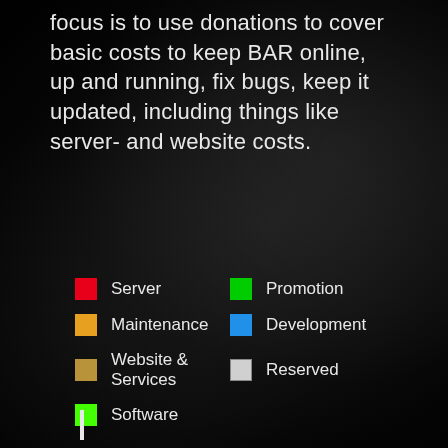focus is to use donations to cover basic costs to keep BAR online, up and running, fix bugs, keep it updated, including things like server- and website costs.
[Figure (infographic): Legend showing color-coded categories: Server (red), Promotion (green), Maintenance (yellow/orange), Development (blue), Website & Services (tan/brown), Reserved (light gray), Software (bright green). Dark mechanical/robotic background imagery.]